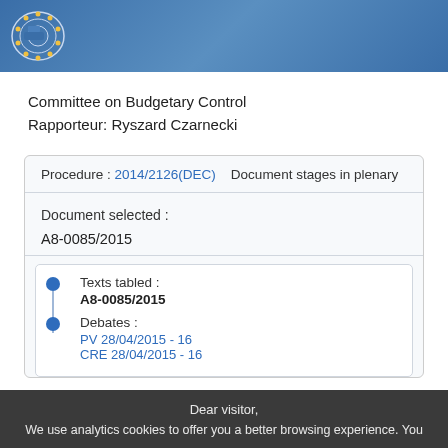European Parliament header bar
Committee on Budgetary Control
Rapporteur: Ryszard Czarnecki
Procedure : 2014/2126(DEC)   Document stages in plenary
Document selected :
A8-0085/2015
Texts tabled :
A8-0085/2015
Debates :
PV 28/04/2015 - 16
CRE 28/04/2015 - 16
Dear visitor,
We use analytics cookies to offer you a better browsing experience. You